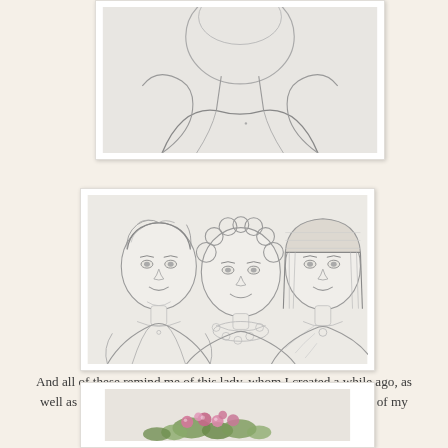[Figure (illustration): Pencil sketch photo framed — upper portion of a figure, appears to be a torso/shoulder area, cropped at top]
[Figure (illustration): Pencil sketch of three female faces/busts side by side: left woman with pulled-back hair and necklace, center woman with curly hair and floral collar, right woman with straight bangs and pendant necklace]
And all of these remind me of this lady, whom I created a while ago, as well as of my daughter Kate's face, as she is always in the back of my mind!
[Figure (photo): Partial view of a photo with pink and green flowers/foliage at the bottom of the page, framed in white]